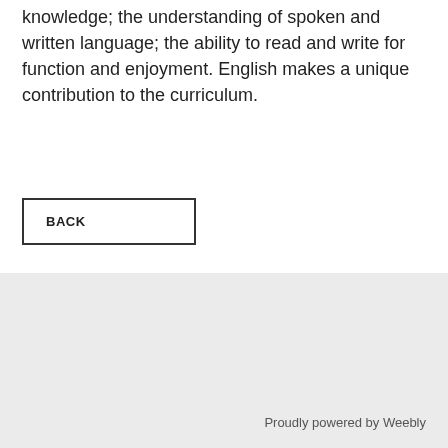knowledge; the understanding of spoken and written language; the ability to read and write for function and enjoyment. English makes a unique contribution to the curriculum.
BACK
Proudly powered by Weebly